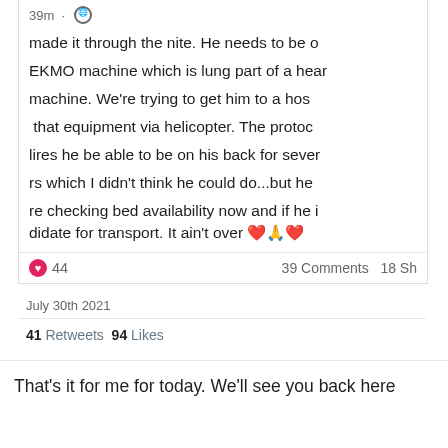39m · 🌐
made it through the nite. He needs to be on EKMO machine which is lung part of a heart machine. We're trying to get him to a hosp that equipment via helicopter. The protocol requires he be able to be on his back for several hours which I didn't think he could do...but he did re checking bed availability now and if he is a candidate for transport. It ain't over ❤️🙏❤️
❤ 44   39 Comments  18 Sh
July 30th 2021
41 Retweets  94 Likes
That's it for me for today. We'll see you back here